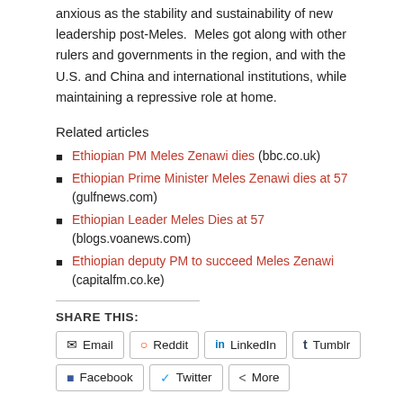anxious as the stability and sustainability of new leadership post-Meles. Meles got along with other rulers and governments in the region, and with the U.S. and China and international institutions, while maintaining a repressive role at home.
Related articles
Ethiopian PM Meles Zenawi dies (bbc.co.uk)
Ethiopian Prime Minister Meles Zenawi dies at 57 (gulfnews.com)
Ethiopian Leader Meles Dies at 57 (blogs.voanews.com)
Ethiopian deputy PM to succeed Meles Zenawi (capitalfm.co.ke)
SHARE THIS:
Email | Reddit | LinkedIn | Tumblr | Facebook | Twitter | More